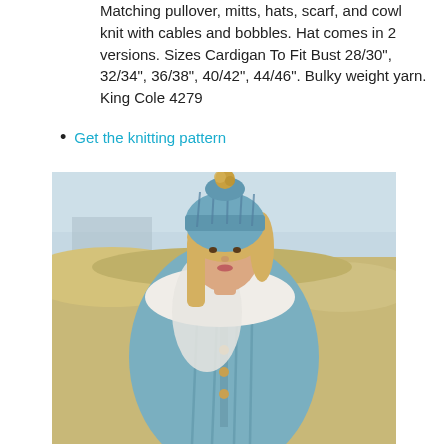Matching pullover, mitts, hats, scarf, and cowl knit with cables and bobbles. Hat comes in 2 versions. Sizes Cardigan To Fit Bust 28/30", 32/34", 36/38", 40/42", 44/46". Bulky weight yarn. King Cole 4279
Get the knitting pattern
[Figure (photo): A woman wearing a blue cable-knit cardigan and matching cable-knit hat with a fur pom-pom on top. She has a white scarf around her neck. She is standing outdoors in what appears to be a coastal or grassy field setting.]